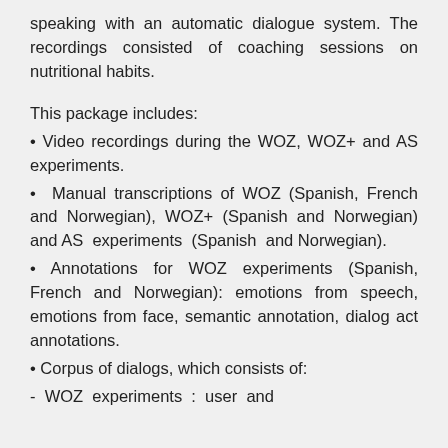speaking with an automatic dialogue system. The recordings consisted of coaching sessions on nutritional habits.
This package includes:
• Video recordings during the WOZ, WOZ+ and AS experiments.
• Manual transcriptions of WOZ (Spanish, French and Norwegian), WOZ+ (Spanish and Norwegian) and AS experiments (Spanish and Norwegian).
• Annotations for WOZ experiments (Spanish, French and Norwegian): emotions from speech, emotions from face, semantic annotation, dialog act annotations.
• Corpus of dialogs, which consists of:
- WOZ experiments : user and